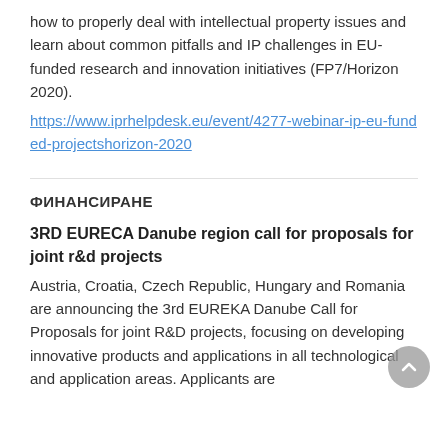how to properly deal with intellectual property issues and learn about common pitfalls and IP challenges in EU-funded research and innovation initiatives (FP7/Horizon 2020).
https://www.iprhelpdesk.eu/event/4277-webinar-ip-eu-funded-projectshorizon-2020
ФИНАНСИРАНЕ
3RD EURECA Danube region call for proposals for joint r&d projects
Austria, Croatia, Czech Republic, Hungary and Romania are announcing the 3rd EUREKA Danube Call for Proposals for joint R&D projects, focusing on developing innovative products and applications in all technological and application areas. Applicants are